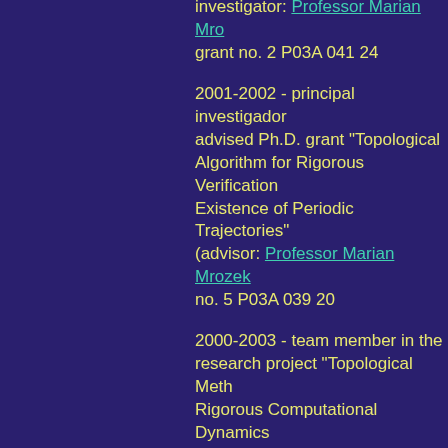investigator: Professor Marian Mrozek); grant no. 2 P03A 041 24
2001-2002 - principal investigador advised Ph.D. grant "Topological Algorithm for Rigorous Verification Existence of Periodic Trajectories" (advisor: Professor Marian Mrozek no. 5 P03A 039 20
2000-2003 - team member in the research project "Topological Methods Rigorous Computational Dynamics (principal investigator: Professor Marian Mrozek); grant no. 2 P03A 011 18
1998-2000 - participant of the research project "Topological Methods in Computer-Assisted Proofs in the Theory of Dynamical Systems" (principal investigator: Professor Marian Mrozek grant no. 2 P03A 029 12